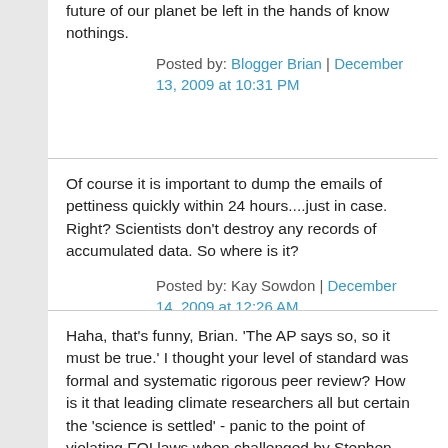future of our planet be left in the hands of know nothings.
Posted by: Blogger Brian | December 13, 2009 at 10:31 PM
Of course it is important to dump the emails of pettiness quickly within 24 hours....just in case. Right? Scientists don't destroy any records of accumulated data. So where is it?
Posted by: Kay Sowdon | December 14, 2009 at 12:26 AM
Haha, that's funny, Brian. 'The AP says so, so it must be true.' I thought your level of standard was formal and systematic rigorous peer review? How is it that leading climate researchers all but certain the 'science is settled' - panic to the point of violating FOI laws when challenged by Stephen McIntyre?
Here's more on this dog that barked: http://www2.macleans.ca/2009/12/13/centre-of-the-storm/